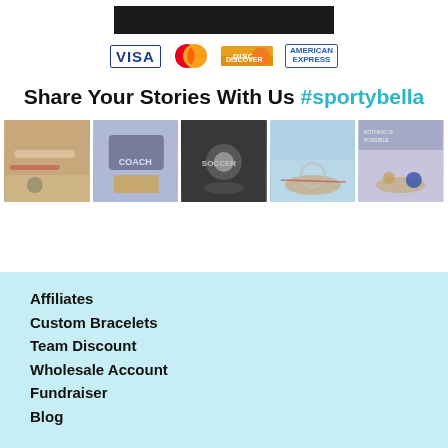[Figure (other): Dark/black rectangular button bar at top center]
[Figure (other): Payment method logos: VISA, Mastercard, Discover, American Express]
Share Your Stories With Us #sportybella
[Figure (photo): Five Instagram-style photos of sports bracelets/jewelry on wrists]
Affiliates
Custom Bracelets
Team Discount
Wholesale Account
Fundraiser
Blog